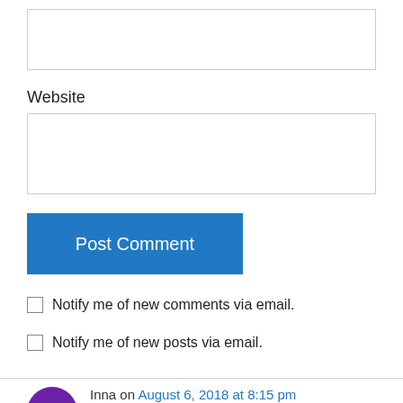[Figure (other): Empty text input box at top of page]
Website
[Figure (other): Empty website input box]
Post Comment
Notify me of new comments via email.
Notify me of new posts via email.
Inna on August 6, 2018 at 8:15 pm
Thank you so much for your post! I got the same email request today from the same person you mentioned! Good I googled her...